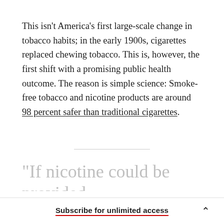This isn't America's first large-scale change in tobacco habits; in the early 1900s, cigarettes replaced chewing tobacco. This is, however, the first shift with a promising public health outcome. The reason is simple science: Smoke-free tobacco and nicotine products are around 98 percent safer than traditional cigarettes.
"If nicotine could be provided
Subscribe for unlimited access